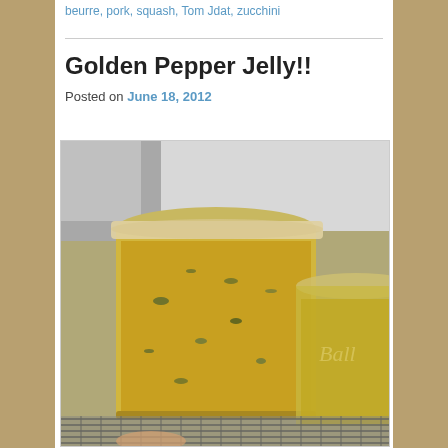beurre, pork, squash, Tom Jdat, zucchini
Golden Pepper Jelly!!
Posted on June 18, 2012
[Figure (photo): Mason jars filled with golden pepper jelly sitting on a wire cooling rack]